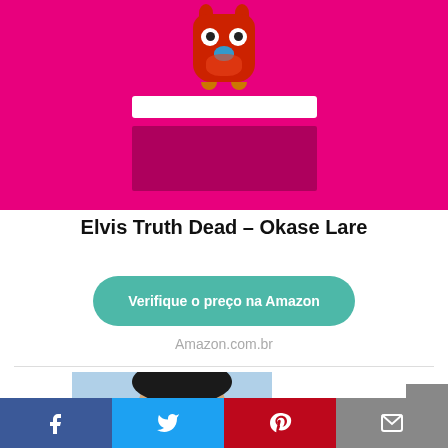[Figure (illustration): Book cover thumbnail with red owl logo on magenta/pink background with white search bar and dark overlay area]
Elvis Truth Dead - Okase Lare
Verifique o preço na Amazon
Amazon.com.br
[Figure (photo): Photo of a young Elvis Presley smiling, with palm trees and sky in the background]
[Figure (other): Social media share bar with Facebook, Twitter, Pinterest, and email icons]